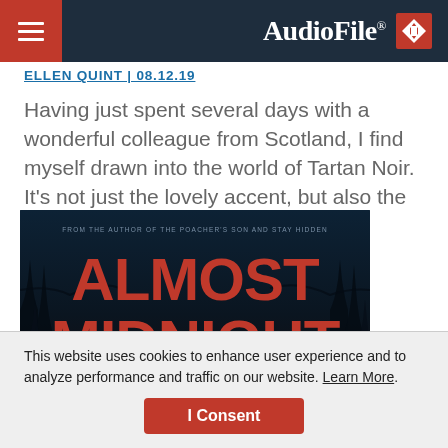AudioFile
ELLEN QUINT | 08.12.19
Having just spent several days with a wonderful colleague from Scotland, I find myself drawn into the world of Tartan Noir. It’s not just the lovely accent, but also the
[Figure (illustration): Book cover for 'Almost Midnight: A Novel' with red title text on a dark blue-black background with tree silhouettes. Subtitle reads 'From the author of The Poacher's Son and Stay Hidden'.]
This website uses cookies to enhance user experience and to analyze performance and traffic on our website. Learn More.
I Consent